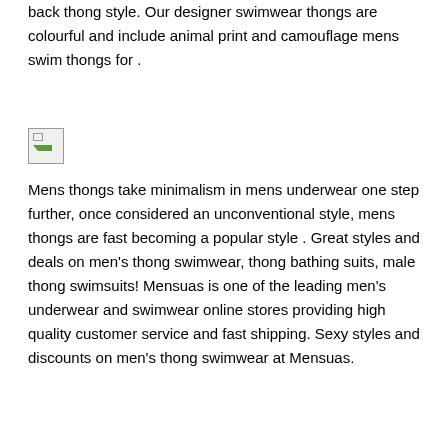back thong style. Our designer swimwear thongs are colourful and include animal print and camouflage mens swim thongs for .
[Figure (photo): Small broken/unloaded image placeholder icon]
Mens thongs take minimalism in mens underwear one step further, once considered an unconventional style, mens thongs are fast becoming a popular style . Great styles and deals on men's thong swimwear, thong bathing suits, male thong swimsuits! Mensuas is one of the leading men's underwear and swimwear online stores providing high quality customer service and fast shipping. Sexy styles and discounts on men's thong swimwear at Mensuas.